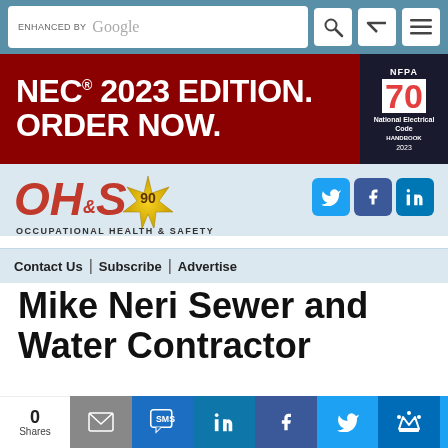[Figure (screenshot): Website navigation bar with Google search box and nav icons on teal background]
[Figure (screenshot): Advertisement banner: NEC 2023 Edition Order Now on dark red background with NFPA 70 handbook book cover]
[Figure (logo): OHS Occupational Health & Safety logo with 90th anniversary badge and social media icons (Twitter, Facebook, LinkedIn)]
Contact Us | Subscribe | Advertise
Mike Neri Sewer and Water Contractor
[Figure (screenshot): Share bar at bottom with 0 Shares count, email, SMS, LinkedIn, Facebook, Twitter, and crown share buttons]